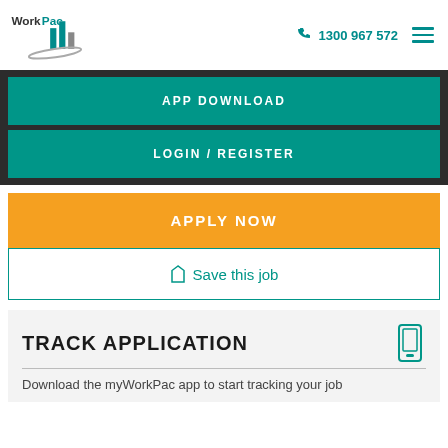[Figure (logo): WorkPac company logo with teal and grey building/bar chart icon and swoosh]
1300 967 572
APP DOWNLOAD
LOGIN / REGISTER
APPLY NOW
Save this job
TRACK APPLICATION
Download the myWorkPac app to start tracking your job